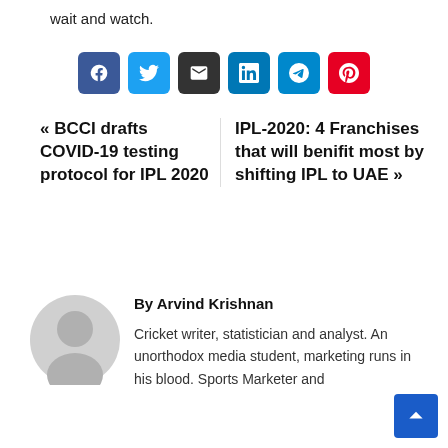wait and watch.
[Figure (infographic): Social share buttons: Facebook, Twitter, Email, LinkedIn, Telegram, Pinterest]
« BCCI drafts COVID-19 testing protocol for IPL 2020
IPL-2020: 4 Franchises that will benifit most by shifting IPL to UAE »
By Arvind Krishnan
Cricket writer, statistician and analyst. An unorthodox media student, marketing runs in his blood. Sports Marketer and